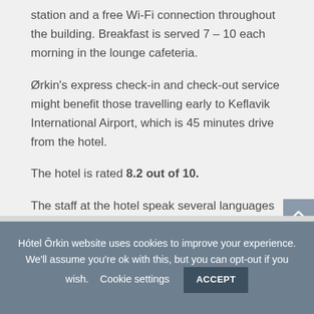station and a free Wi-Fi connection throughout the building. Breakfast is served 7 – 10 each morning in the lounge cafeteria.
Ørkin's express check-in and check-out service might benefit those travelling early to Keflavik International Airport, which is 45 minutes drive from the hotel.
The hotel is rated 8.2 out of 10.
The staff at the hotel speak several languages
Hótel Ōrkin website uses cookies to improve your experience. We'll assume you're ok with this, but you can opt-out if you wish.   Cookie settings   ACCEPT